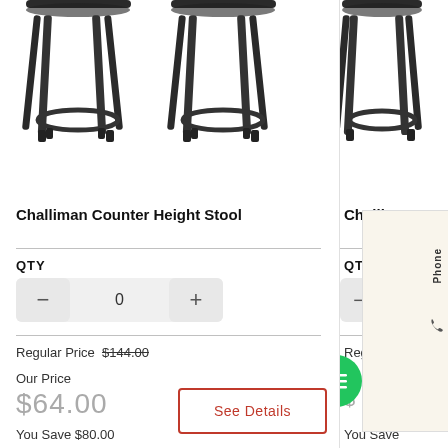[Figure (photo): Two dark metal counter height bar stools shown side by side, partially cropped at top]
Challiman Counter Height Stool
QTY
Regular Price  $144.00
Our Price
$64.00
See Details
You Save $80.00
[Figure (photo): Partial view of another dark metal counter height bar stool, partially cropped]
Challin
QTY
Regular P
O
You Save